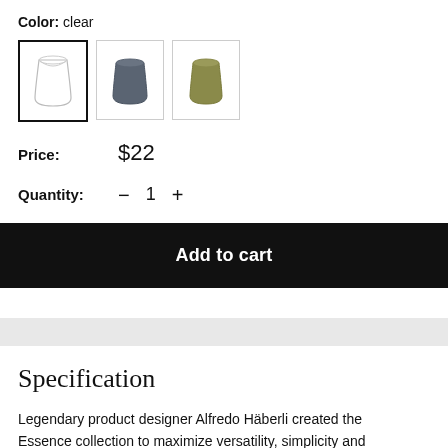Color: clear
[Figure (photo): Three product color swatches for glasses: clear (selected, with border), dark gray/slate, and olive/green.]
Price: $22
Quantity: — 1 +
Add to cart
Specification
Legendary product designer Alfredo Häberli created the Essence collection to maximize versatility, simplicity and